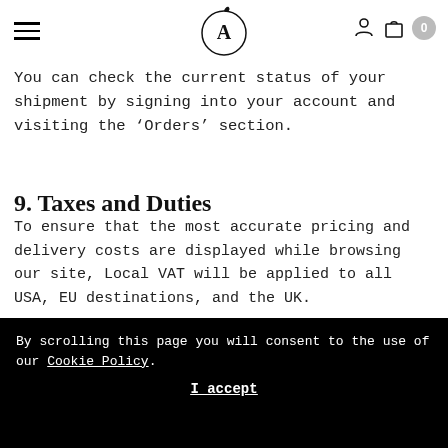A (logo)
You can check the current status of your shipment by signing into your account and visiting the ‘Orders’ section.
9. Taxes and Duties
To ensure that the most accurate pricing and delivery costs are displayed while browsing our site, Local VAT will be applied to all USA, EU destinations, and the UK.
By scrolling this page you will consent to the use of our Cookie Policy. I accept